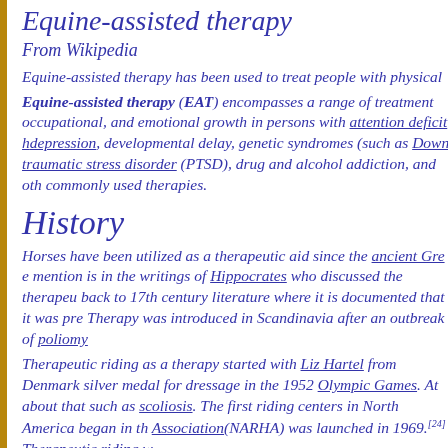Equine-assisted therapy
From Wikipedia
Equine-assisted therapy has been used to treat people with physical...
Equine-assisted therapy (EAT) encompasses a range of treatments... occupational, and emotional growth in persons with attention deficit h... depression, developmental delay, genetic syndromes (such as Down... traumatic stress disorder (PTSD), drug and alcohol addiction, and ot... commonly used therapies.
History
Horses have been utilized as a therapeutic aid since the ancient Gre... mention is in the writings of Hippocrates who discussed the therapeut... back to 17th century literature where it is documented that it was pre... Therapy was introduced in Scandinavia after an outbreak of poliomy...
Therapeutic riding as a therapy started with Liz Hartel from Denmark... silver medal for dressage in the 1952 Olympic Games. At about that... such as scoliosis. The first riding centers in North America began in t... Association(NARHA) was launched in 1969.[24] Therapeutic riding w...